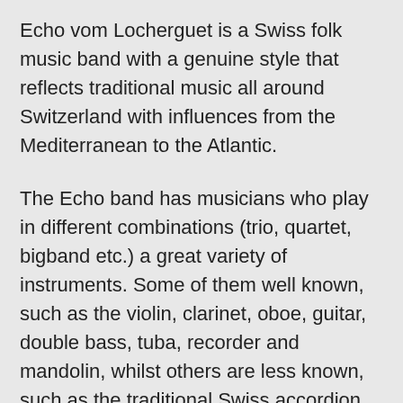Echo vom Locherguet is a Swiss folk music band with a genuine style that reflects traditional music all around Switzerland with influences from the Mediterranean to the Atlantic.
The Echo band has musicians who play in different combinations (trio, quartet, bigband etc.) a great variety of instruments. Some of them well known, such as the violin, clarinet, oboe, guitar, double bass, tuba, recorder and mandolin, whilst others are less known, such as the traditional Swiss accordion, neck zither, charango, shawm, clarineau, bouzouki, spoons and Jewish harp. The Echo musicians also play quite rare instruments like the notched flute and "Chlefeli" (Swiss